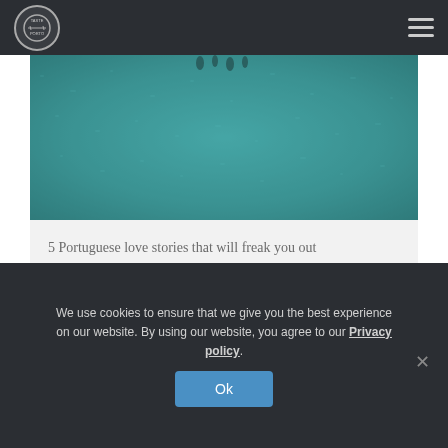Taste Porto [logo] [hamburger menu]
[Figure (photo): Aerial view of teal/turquoise water with small figures visible at the top]
5 Portuguese love stories that will freak you out
Read more...
We use cookies to ensure that we give you the best experience on our website. By using our website, you agree to our Privacy policy.
Ok